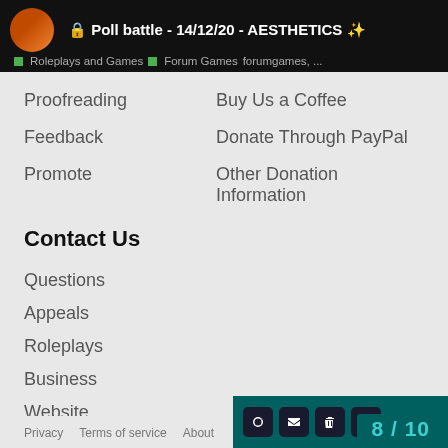Poll battle - 14/12/20 - AESTHETICS ✨
Roleplays and Games  Forum Games  forumgames, ...
Proofreading
Buy Us a Coffee
Feedback
Donate Through PayPal
Promote
Other Donation Information
Contact Us
Questions
Appeals
Roleplays
Business
Website
Privacy   Terms of service   About   8 / 10